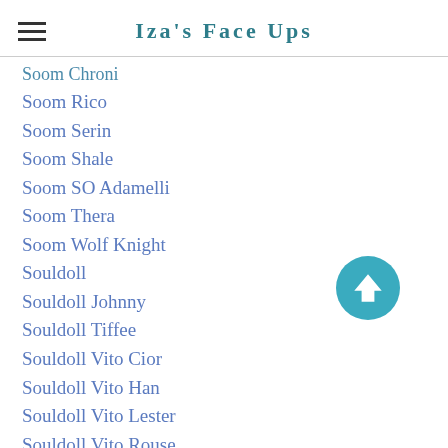Iza's Face Ups
Soom Chroni
Soom Rico
Soom Serin
Soom Shale
Soom SO Adamelli
Soom Thera
Soom Wolf Knight
Souldoll
Souldoll Johnny
Souldoll Tiffee
Souldoll Vito Cior
Souldoll Vito Han
Souldoll Vito Lester
Souldoll Vito Rouse
Souldoll Vito Sean
Stinesculpture Thomas
Sugarble
Sugarble Darlene